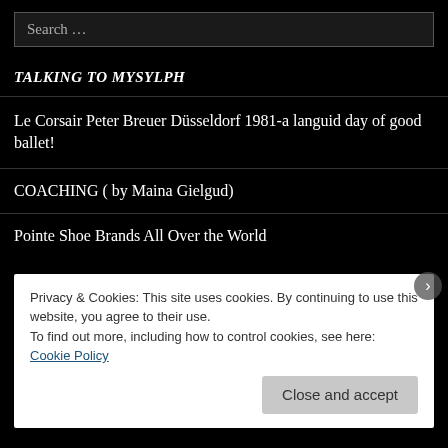Search …
TALKING TO MYSYLPH
Le Corsair Peter Breuer Düsseldorf 1981-a languid day of good ballet!
COACHING ( by Maina Gielgud)
Pointe Shoe Brands All Over the World
Privacy & Cookies: This site uses cookies. By continuing to use this website, you agree to their use.
To find out more, including how to control cookies, see here: Cookie Policy
Close and accept